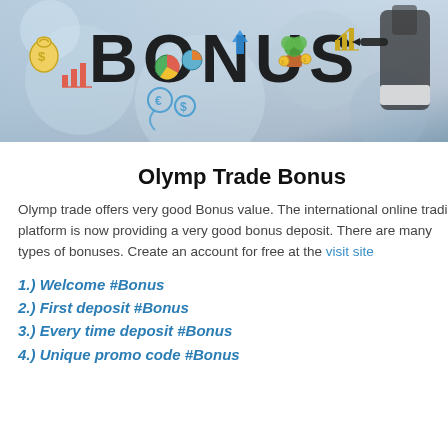[Figure (photo): Banner image showing the word BONUS written in large bold letters, with financial icons such as money bags, charts, pie charts, arrows, plants in pots with coins, and a hand holding a marker pen against a blurred background.]
Olymp Trade Bonus
Olymp trade offers very good Bonus value. The international online trading platform is now providing a very good bonus deposit. There are many types of bonuses. Create an account for free at the visit site
1.) Welcome #Bonus
2.) First deposit #Bonus
3.) Every time deposit #Bonus
4.) Unique promo code #Bonus